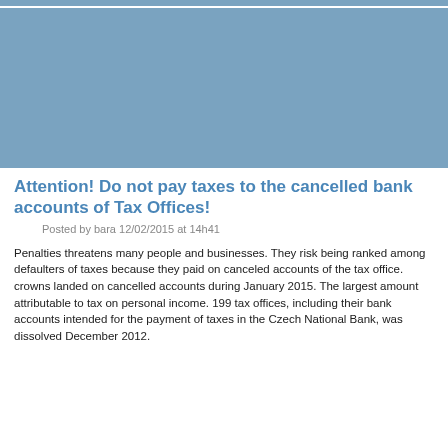[Figure (other): Blue banner/header image placeholder]
Attention! Do not pay taxes to the cancelled bank accounts of Tax Offices!
Posted by bara 12/02/2015 at 14h41
Penalties threatens many people and businesses. They risk being ranked among defaulters of taxes because they paid on canceled accounts of the tax office. crowns landed on cancelled accounts during January 2015. The largest amount attributable to tax on personal income. 199 tax offices, including their bank accounts intended for the payment of taxes in the Czech National Bank, was dissolved December 2012.